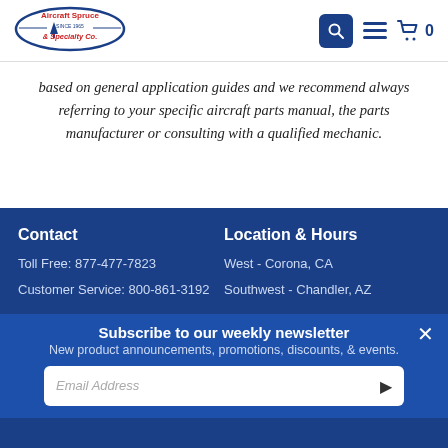[Figure (logo): Aircraft Spruce & Specialty Co. logo with blue oval and red text]
based on general application guides and we recommend always referring to your specific aircraft parts manual, the parts manufacturer or consulting with a qualified mechanic.
Contact
Toll Free: 877-477-7823
Customer Service: 800-861-3192
Location & Hours
West - Corona, CA
Southwest - Chandler, AZ
Subscribe to our weekly newsletter
New product announcements, promotions, discounts, & events.
Email Address